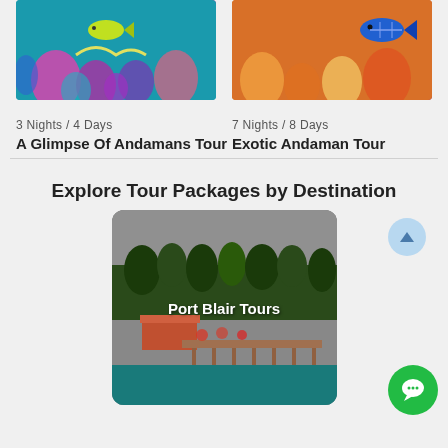[Figure (photo): Underwater coral reef with colorful fish - left card image for A Glimpse Of Andamans Tour]
3 Nights / 4 Days
A Glimpse Of Andamans Tour
[Figure (photo): Underwater coral reef with colorful tropical fish - right card image for Exotic Andaman Tour]
7 Nights / 8 Days
Exotic Andaman Tour
Explore Tour Packages by Destination
[Figure (photo): Port Blair coastal scene with palm trees and dock/pier area, overcast sky, teal water]
Port Blair Tours